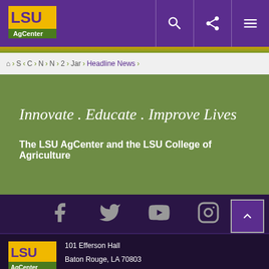[Figure (logo): LSU AgCenter logo in header, yellow and green on purple background]
[Figure (infographic): Navigation header with search, share, and menu icons on purple background]
Home > S > C > N > N > 2 > Jar > Headline News
Innovate . Educate . Improve Lives
The LSU AgCenter and the LSU College of Agriculture
[Figure (infographic): Social media icons: Facebook, Twitter, YouTube, Instagram on dark purple background]
[Figure (logo): LSU AgCenter large logo in footer]
101 Efferson Hall
Baton Rouge, LA 70803